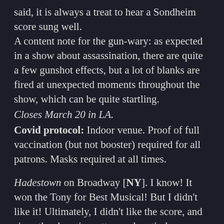said, it is always a treat to hear a Sondheim score sung well.
A content note for the gun-wary: as expected in a show about assassination, there are quite a few gunshot effects, but a lot of blanks are fired at unexpected moments throughout the show, which can be quite startling.
Closes March 20 in LA.
Covid protocol: Indoor venue. Proof of full vaccination (but not booster) required for all patrons. Masks required at all times.
Hadestown on Broadway [NY]. I know! It won the Tony for Best Musical! But I didn't like it! Ultimately, I didn't like the score, and since the show is pretty much entirely sung-through, it